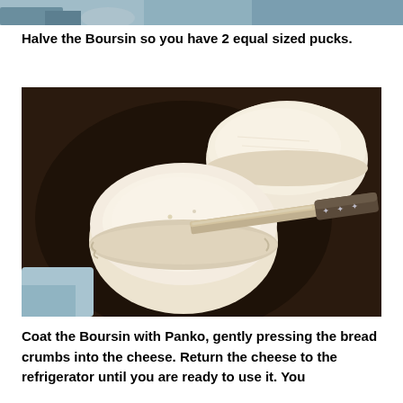[Figure (photo): Top portion of a food photo, partially cropped, showing what appears to be a kitchen or food preparation scene]
Halve the Boursin so you have 2 equal sized pucks.
[Figure (photo): A dark wooden plate or board with two halves of Boursin cheese (white, round, puck-shaped) and a knife with star decorations on the handle, on a dark brown surface with a light blue cloth visible at the bottom left]
Coat the Boursin with Panko, gently pressing the bread crumbs into the cheese. Return the cheese to the refrigerator until you are ready to use it. You